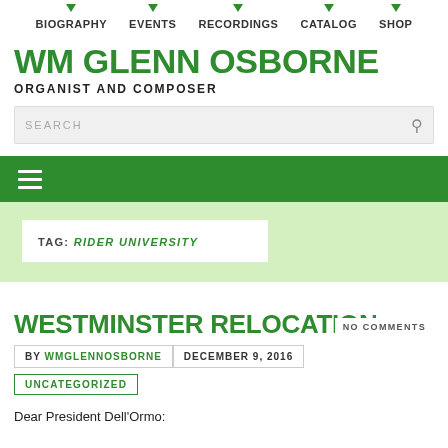BIOGRAPHY  EVENTS  RECORDINGS  CATALOG  SHOP
WM GLENN OSBORNE
ORGANIST AND COMPOSER
SEARCH
[Figure (other): Green navigation hamburger menu bar]
TAG: RIDER UNIVERSITY
NO COMMENTS
WESTMINSTER RELOCATION
BY WMGLENNOSBORNE   DECEMBER 9, 2016
UNCATEGORIZED
Dear President Dell'Ormo: